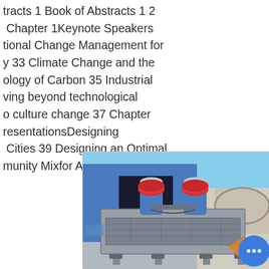tracts 1 Book of Abstracts 1 2 Chapter 1Keynote Speakers tional Change Management for y 33 Climate Change and the ology of Carbon 35 Industrial ving beyond technological o culture change 37 Chapter resentationsDesigning Cities 39 Designing an Optimal munity Mixfor Aquifer ...
[Figure (photo): Industrial vibrating screen machine with two red cylindrical motors mounted on top of a grey metal frame with springs at the base, photographed outdoors in front of a blue building. A circular chat bubble icon with ellipsis is overlaid in the lower right corner.]